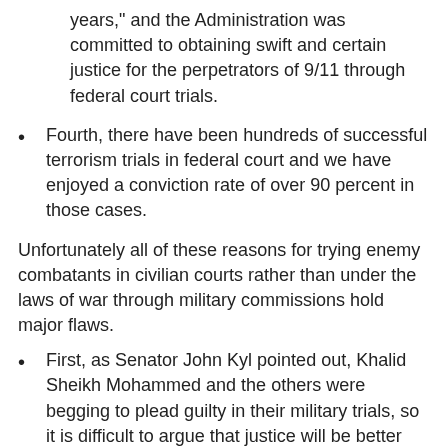years," and the Administration was committed to obtaining swift and certain justice for the perpetrators of 9/11 through federal court trials.
Fourth, there have been hundreds of successful terrorism trials in federal court and we have enjoyed a conviction rate of over 90 percent in those cases.
Unfortunately all of these reasons for trying enemy combatants in civilian courts rather than under the laws of war through military commissions hold major flaws.
First, as Senator John Kyl pointed out, Khalid Sheikh Mohammed and the others were begging to plead guilty in their military trials, so it is difficult to argue that justice will be better served in a contested civilian trial.
Second, the Administration lacks a clear